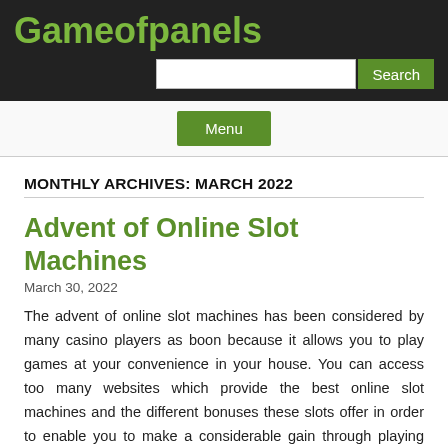Gameofpanels
MONTHLY ARCHIVES: MARCH 2022
Advent of Online Slot Machines
March 30, 2022
The advent of online slot machines has been considered by many casino players as boon because it allows you to play games at your convenience in your house. You can access too many websites which provide the best online slot machines and the different bonuses these slots offer in order to enable you to make a considerable gain through playing these slots. For most of the casino players, it is a very boring affair sitting near the slot